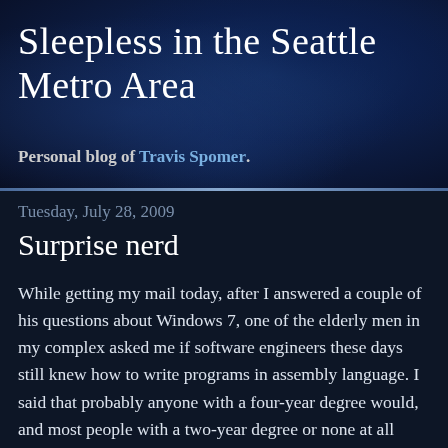Sleepless in the Seattle Metro Area
Personal blog of Travis Spomer.
Tuesday, July 28, 2009
Surprise nerd
While getting my mail today, after I answered a couple of his questions about Windows 7, one of the elderly men in my complex asked me if software engineers these days still knew how to write programs in assembly language.  I said that probably anyone with a four-year degree would, and most people with a two-year degree or none at all probably would have no experience with it, and that I hadn't used it since college.  He chuckled and said that he would hope not, and that he still remembers his nightmare experiences